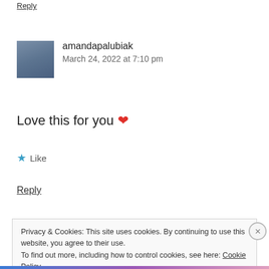Reply
amandapalubiak
March 24, 2022 at 7:10 pm
Love this for you ❤
★ Like
Reply
Privacy & Cookies: This site uses cookies. By continuing to use this website, you agree to their use.
To find out more, including how to control cookies, see here: Cookie Policy
Close and accept